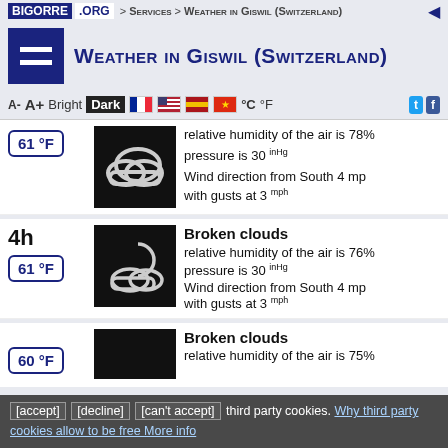BIGORRE .ORG > Services > Weather in Giswil (Switzerland)
Weather in Giswil (Switzerland)
A- A+ Bright Dark °C °F
relative humidity of the air is 78%
pressure is 30 inHg
Wind direction from South 4 mph with gusts at 3 mph
61 °F
4h
61 °F
Broken clouds
relative humidity of the air is 76%
pressure is 30 inHg
Wind direction from South 4 mph with gusts at 3 mph
60 °F
Broken clouds
relative humidity of the air is 75%
[accept] [decline] [can't accept] third party cookies. Why third party cookies allow to be free More info